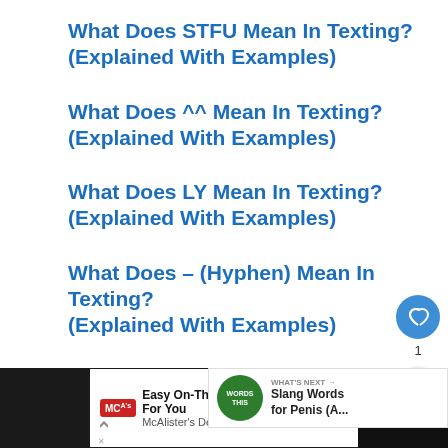What Does STFU Mean In Texting? (Explained With Examples)
What Does ^^ Mean In Texting? (Explained With Examples)
What Does LY Mean In Texting? (Explained With Examples)
What Does – (Hyphen) Mean In Texting? (Explained With Examples)
What Does A Purple Heart Mean In Texting? (Explained With Examples)
[Figure (screenshot): What's Next overlay with green circle icon showing 'WORDS THIS' text and title 'Slang Words for Penis (A...']
[Figure (screenshot): Bottom advertisement bar: McAlister's Deli - Easy On-The-Go Options For You]